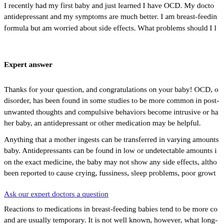I recently had my first baby and just learned I have OCD. My doctor prescribed an antidepressant and my symptoms are much better. I am breast-feeding but am also using formula but am worried about side effects. What problems should I look for?
Expert answer
Thanks for your question, and congratulations on your baby! OCD, or obsessive-compulsive disorder, has been found in some studies to be more common in postpartum women. When unwanted thoughts and compulsive behaviors become intrusive or harmful to the mother or her baby, an antidepressant or other medication may be helpful.
Anything that a mother ingests can be transferred in varying amounts through breast milk to the baby. Antidepressants can be found in low or undetectable amounts in breast milk. Depending on the exact medicine, the baby may not show any side effects, although some medicines have been reported to cause crying, fussiness, sleep problems, poor growth,
Ask our expert doctors a question
Reactions to medications in breast-feeding babies tend to be more common in newborns and are usually temporary. It is not well known, however, what long-term effects a drug might have on a child's development. To minimize short-term problems, consider scheduling the dosing of medication to occur right after the baby has breast-fed or during a long sleep. Also, both mom and baby should be monitored closely by their
The benefits of breast-feeding a baby often outweigh the risks of exposure to medication. parents with treated medical (including mental health) problems are